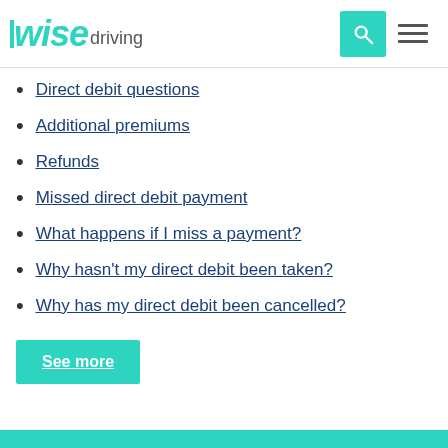wise driving
Direct debit questions
Additional premiums
Refunds
Missed direct debit payment
What happens if I miss a payment?
Why hasn't my direct debit been taken?
Why has my direct debit been cancelled?
See more